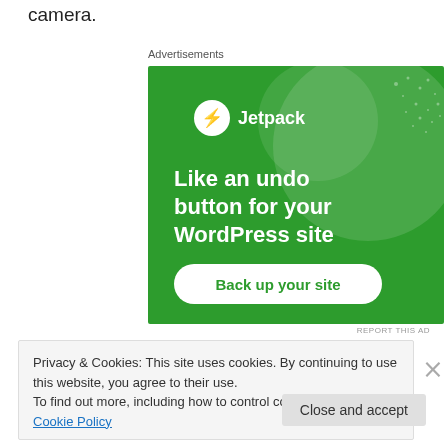camera.
Advertisements
[Figure (screenshot): Jetpack advertisement banner with green background showing a lightning bolt icon, Jetpack logo, text 'Like an undo button for your WordPress site', and a white button labeled 'Back up your site']
REPORT THIS AD
Privacy & Cookies: This site uses cookies. By continuing to use this website, you agree to their use.
To find out more, including how to control cookies, see here: Cookie Policy
Close and accept